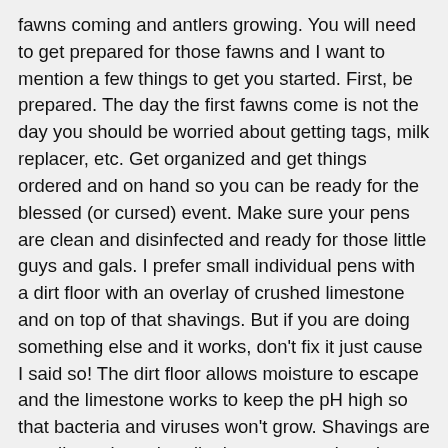fawns coming and antlers growing. You will need to get prepared for those fawns and I want to mention a few things to get you started. First, be prepared. The day the first fawns come is not the day you should be worried about getting tags, milk replacer, etc. Get organized and get things ordered and on hand so you can be ready for the blessed (or cursed) event. Make sure your pens are clean and disinfected and ready for those little guys and gals. I prefer small individual pens with a dirt floor with an overlay of crushed limestone and on top of that shavings. But if you are doing something else and it works, don't fix it just cause I said so! The dirt floor allows moisture to escape and the limestone works to keep the pH high so that bacteria and viruses won't grow. Shavings are usually easier to handle than straw and tend to make it easier for the little fawns to get around (at least in the first few days of life).
Have bottles and nipples cleaned and disinfected. I personally prefer the Pritchard nipple. Most fawns take to it better than